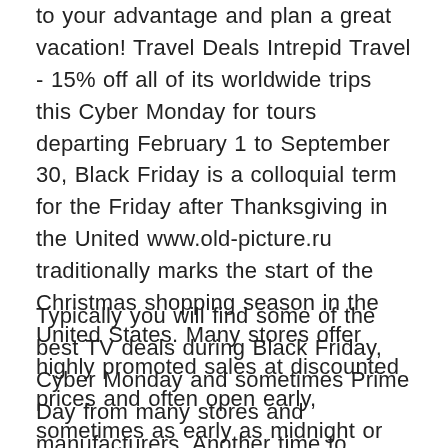to your advantage and plan a great vacation! Travel Deals Intrepid Travel - 15% off all of its worldwide trips this Cyber Monday for tours departing February 1 to September 30, Black Friday is a colloquial term for the Friday after Thanksgiving in the United www.old-picture.ru traditionally marks the start of the Christmas shopping season in the United States. Many stores offer highly promoted sales at discounted prices and often open early, sometimes as early as midnight or even on Thanksgiving. Some stores' sales continue to Monday ("Cyber Monday").
Typically you will find some of the best TV deals during Black Friday, Cyber Monday and sometimes Prime Day from many stores and manufacturers. Another time to. What's the best time to buy a new TV? We suggest shopping during Amazon Prime Day or during Black Friday/Cyber Monday. At these times, you'll find the